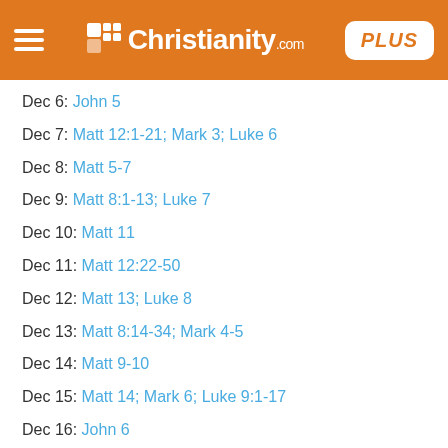Christianity.com PLUS
Dec 6: John 5
Dec 7: Matt 12:1-21; Mark 3; Luke 6
Dec 8: Matt 5-7
Dec 9: Matt 8:1-13; Luke 7
Dec 10: Matt 11
Dec 11: Matt 12:22-50
Dec 12: Matt 13; Luke 8
Dec 13: Matt 8:14-34; Mark 4-5
Dec 14: Matt 9-10
Dec 15: Matt 14; Mark 6; Luke 9:1-17
Dec 16: John 6
Dec 17: Matt 15; Mark 7
Dec 18: Matt 16; Mark 8; Luke 9:18-27